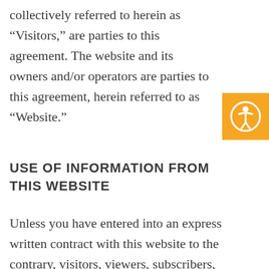collectively referred to herein as “Visitors,” are parties to this agreement. The website and its owners and/or operators are parties to this agreement, herein referred to as “Website.”
[Figure (other): Orange accessibility icon button with person-in-circle symbol]
USE OF INFORMATION FROM THIS WEBSITE
Unless you have entered into an express written contract with this website to the contrary, visitors, viewers, subscribers, members, affiliates, or customers have no right to use this information in a commercial or public setting; they have no